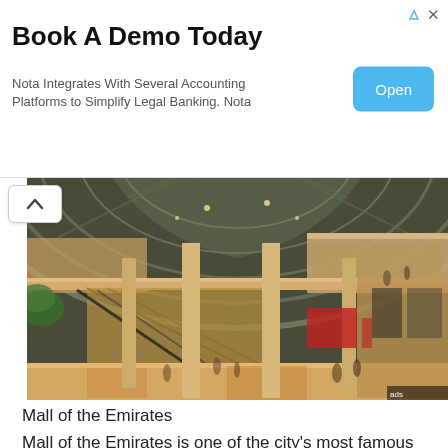[Figure (screenshot): Advertisement banner: Book A Demo Today - Nota Integrates With Several Accounting Platforms to Simplify Legal Banking. Nota. Open button in blue.]
[Figure (photo): Interior of Mall of the Emirates showing multi-level shopping mall with large glass dome ceiling, escalators, shops, and shoppers.]
Mall of the Emirates
Mall of the Emirates is one of the city's most famous malls, with the spectacular (and surreal) Ski Dubai facility inside...